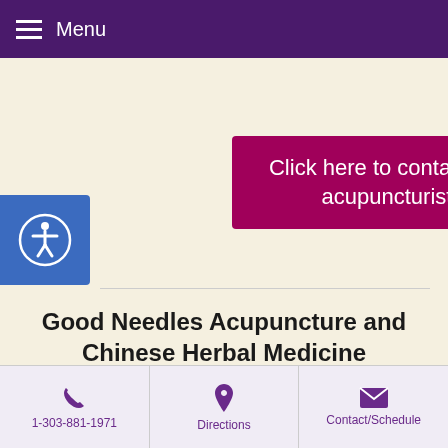Menu
Click here to contact the acupuncturist
Good Needles Acupuncture and Chinese Herbal Medicine
Mission Trace Shopping Center
3333 S. Wadsworth Blvd.
Ste. D319
Lakewood, CO 80227
1-303-881-1971
1-303-881-1971  Directions  Contact/Schedule